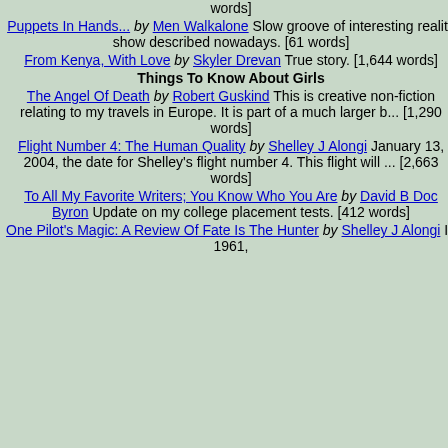words]
Puppets In Hands... by Men Walkalone Slow groove of interesting reality show described nowadays. [61 words]
From Kenya, With Love by Skyler Drevan True story. [1,644 words]
Things To Know About Girls
The Angel Of Death by Robert Guskind This is creative non-fiction relating to my travels in Europe. It is part of a much larger b... [1,290 words]
Flight Number 4: The Human Quality by Shelley J Alongi January 13, 2004, the date for Shelley's flight number 4. This flight will ... [2,663 words]
To All My Favorite Writers; You Know Who You Are by David B Doc Byron Update on my college placement tests. [412 words]
One Pilot's Magic: A Review Of Fate Is The Hunter by Shelley J Alongi In 1961, ...
item you're trying to buy. I'm sure yourself "like I'd ever treat a girl l how a guy gets attracted to a girl a guy myself. When you look at a million years." I know it's not a go we do.
The "friend"
It is possible for a girl to only war this displeases the guy, it happen friends they have are girls. This p other guys. His response is: "Hey Me." This is because he's more i pretending to be) so he can get c the high school girl rarely goes fo of the "gay" guy). Girls will typica while in high school, and settle d So basically, they'll find a guy tha younger years, then when they're father. Hey, I didn't come up with
Seeing the inside
A relationship based on looks isn common interests or personality. someone who's very attractive (i